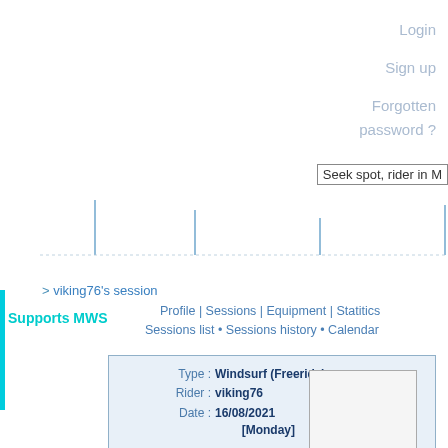Login
Sign up
Forgotten password ?
Seek spot, rider in M
> viking76's session
Supports MWS
Profile | Sessions | Equipment | Statitics
Sessions list • Sessions history • Calendar
| Type : | Windsurf (Freeride) |
| Rider : | viking76 |
| Date : | 16/08/2021 [Monday] |
| Spot : | Veules-les-Roses (Seine-Maritime, France) |
| Start : | --- |
| End : | --- |
| Duration : | --- |
| Wind : | North-West |
| Waves : | --- |
| Highest jump : | --- |
| Mark : | --- |
Goya One
Naish Boxer 6.2